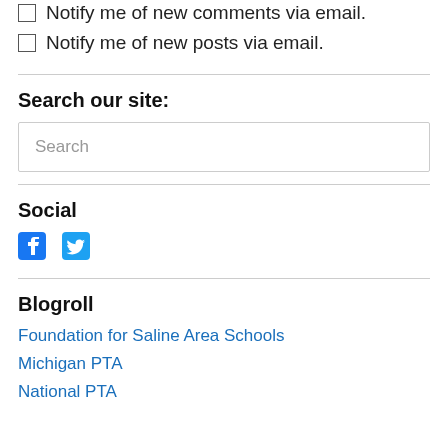Notify me of new comments via email.
Notify me of new posts via email.
Search our site:
Search
Social
[Figure (illustration): Facebook and Twitter social media icons in blue]
Blogroll
Foundation for Saline Area Schools
Michigan PTA
National PTA